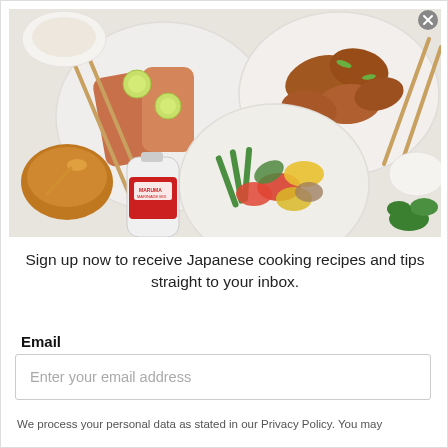[Figure (photo): Overhead food photography showing Japanese-inspired dishes: grilled salmon with lime slices on a white plate, chicken wings with green onions on a white plate, stir-fried vegetables (asparagus, peppers, zucchini, mushrooms) on a white plate, a bottle of Maruman marinade/sauce, a bowl of brown sauce with a spoon, and chopsticks arranged on a white marble surface.]
Sign up now to receive Japanese cooking recipes and tips straight to your inbox.
Email
Enter your email address
We process your personal data as stated in our Privacy Policy. You may